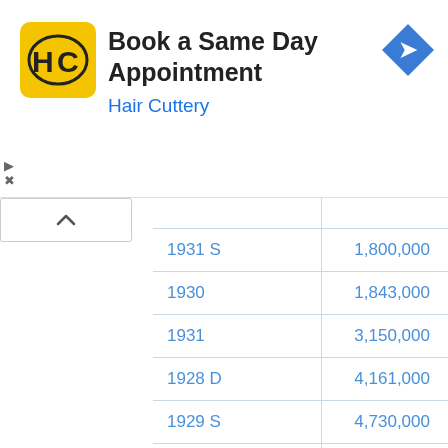[Figure (screenshot): Hair Cuttery advertisement banner: yellow logo with HC monogram, title 'Book a Same Day Appointment', subtitle 'Hair Cuttery', blue navigation arrow icon on right]
| Year/Type | Mintage |
| --- | --- |
| 1931 S | 1,800,000 |
| 1930 | 1,843,000 |
| 1931 | 3,150,000 |
| 1928 D | 4,161,000 |
| 1929 S | 4,730,000 |
| 1927 S | 4,730,000 |
| 1927 D | 4,912,000 |
| 1929 D | 5,034,000 |
| 1925 D | 5,117,000 |